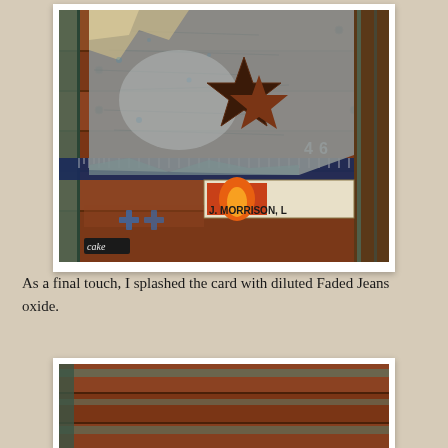[Figure (photo): A mixed-media craft card featuring a distressed metal-look surface with a dark star embellishment, a ruler/measuring tape element, an orange/rust wooden plank background with rivets, and a label reading 'J. MORRISON'. The word 'cake' appears in white text on a dark label in the lower left. Blue and orange tones dominate.]
As a final touch, I splashed the card with diluted Faded Jeans oxide.
[Figure (photo): A partially visible photo showing the bottom portion of a similar mixed-media craft card with teal/rust distressed wooden plank elements.]